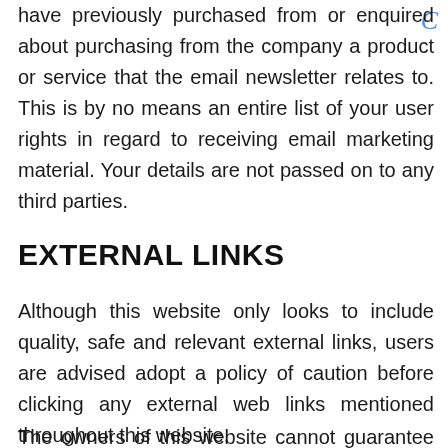have previously purchased from or enquired about purchasing from the company a product or service that the email newsletter relates to. This is by no means an entire list of your user rights in regard to receiving email marketing material. Your details are not passed on to any third parties.
EXTERNAL LINKS
Although this website only looks to include quality, safe and relevant external links, users are advised adopt a policy of caution before clicking any external web links mentioned throughout this website.
The owners of this website cannot guarantee or verify